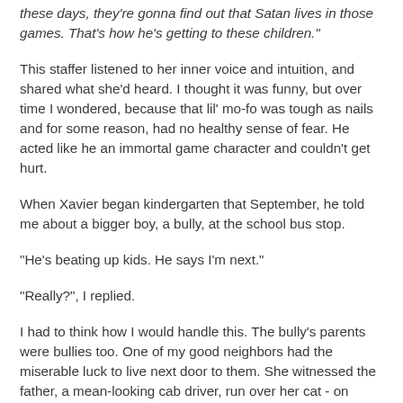these days, they're gonna find out that Satan lives in those games. That's how he's getting to these children."
This staffer listened to her inner voice and intuition, and shared what she'd heard. I thought it was funny, but over time I wondered, because that lil' mo-fo was tough as nails and for some reason, had no healthy sense of fear. He acted like he an immortal game character and couldn't get hurt.
When Xavier began kindergarten that September, he told me about a bigger boy, a bully, at the school bus stop.
"He's beating up kids. He says I'm next."
"Really?", I replied.
I had to think how I would handle this. The bully's parents were bullies too. One of my good neighbors had the miserable luck to live next door to them. She witnessed the father, a mean-looking cab driver, run over her cat - on purpose - then lie in her face that he didn't and she better back the fuck off. His wife equaled him in being an out and